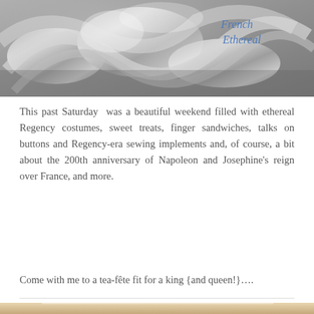[Figure (photo): Close-up photo of ornate silver metallic decorative objects with cursive text overlay reading 'French Ethereal' in blue italic font in the upper right corner.]
This past Saturday  was a beautiful weekend filled with ethereal Regency costumes, sweet treats, finger sandwiches, talks on buttons and Regency-era sewing implements and, of course, a bit about the 200th anniversary of Napoleon and Josephine's reign over France, and more.
Come with me to a tea-fête fit for a king {and queen!}….
[Figure (photo): Photo of a person with dark hair wearing a golden laurel wreath headband, photographed indoors with warm lighting and windows visible in the background.]